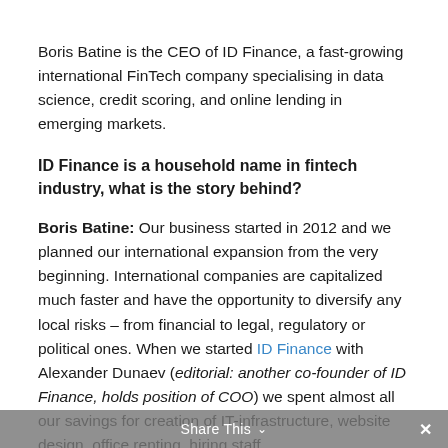Boris Batine is the CEO of ID Finance, a fast-growing international FinTech company specialising in data science, credit scoring, and online lending in emerging markets.
ID Finance is a household name in fintech industry, what is the story behind?
Boris Batine: Our business started in 2012 and we planned our international expansion from the very beginning. International companies are capitalized much faster and have the opportunity to diversify any local risks – from financial to legal, regulatory or political ones. When we started ID Finance with Alexander Dunaev (editorial: another co-founder of ID Finance, holds position of COO) we spent almost all our savings for creation of IT-infrastructure, website design, office renting, hiring staff.
Share This